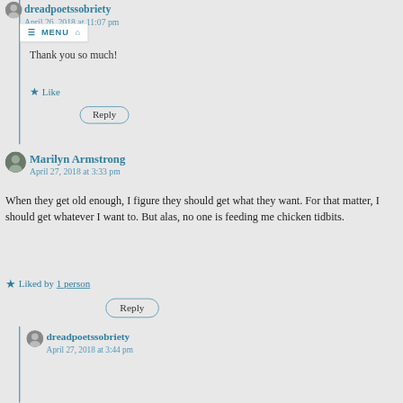dreadpoetssobriety
April 26, 2018 at 11:07 pm
[Figure (screenshot): Menu bar overlay with hamburger icon, MENU text, and home icon]
Thank you so much!
Like
Reply
Marilyn Armstrong
April 27, 2018 at 3:33 pm
When they get old enough, I figure they should get what they want. For that matter, I should get whatever I want to. But alas, no one is feeding me chicken tidbits.
Liked by 1 person
Reply
dreadpoetssobriety
April 27, 2018 at 3:44 pm